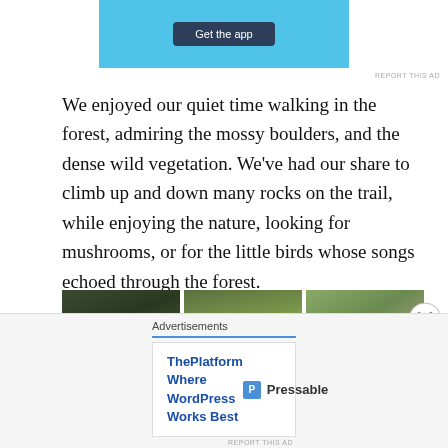[Figure (screenshot): Top advertisement banner with light blue background and 'Get the app' dark button]
We enjoyed our quiet time walking in the forest, admiring the mossy boulders, and the dense wild vegetation. We've had our share to climb up and down many rocks on the trail, while enjoying the nature, looking for mushrooms, or for the little birds whose songs echoed through the forest.
[Figure (photo): Three side-by-side forest nature photos: left shows forest floor with mushroom, center shows mossy ferns on rock, right shows large moss-covered boulder]
[Figure (screenshot): Bottom advertisement: 'ThePlatform Where WordPress Works Best' with Pressable logo]